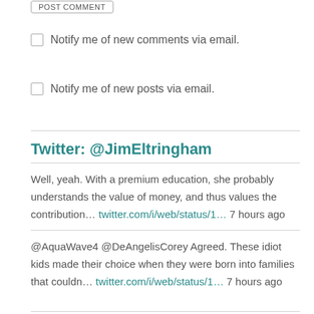POST COMMENT
Notify me of new comments via email.
Notify me of new posts via email.
Twitter: @JimEltringham
Well, yeah. With a premium education, she probably understands the value of money, and thus values the contribution... twitter.com/i/web/status/1... 7 hours ago
@AquaWave4 @DeAngelisCorey Agreed. These idiot kids made their choice when they were born into families that couldn... twitter.com/i/web/status/1... 7 hours ago